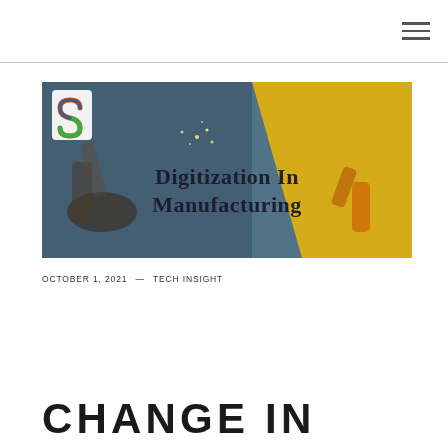[Figure (photo): Hero image showing manufacturing/industrial robots on an automotive assembly line with sparks flying. Overlaid with a yellow diamond/chevron graphic and the text 'Digitization In Manufacturing' in bold serif font. Top-left corner shows a colorful S-shaped logo.]
OCTOBER 1, 2021 — TECH INSIGHT
CHANGE IN